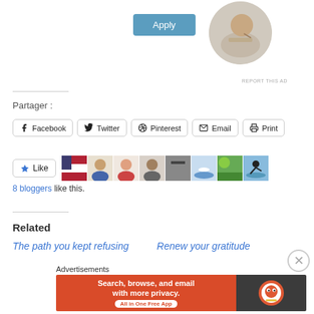[Figure (other): Apply button — blue rounded rectangle with white text 'Apply']
[Figure (photo): Circular profile photo of a man thinking, wearing beige shirt, leaning on desk]
REPORT THIS AD
Partager :
[Figure (other): Social share buttons: Facebook, Twitter, Pinterest, Email, Print]
[Figure (other): Like button with star icon followed by avatar strip of 8 bloggers]
8 bloggers like this.
Related
The path you kept refusing
Renew your gratitude
Advertisements
[Figure (other): DuckDuckGo advertisement banner: 'Search, browse, and email with more privacy. All in One Free App' on orange background with DuckDuckGo logo on dark right side]
REPORT THIS AD